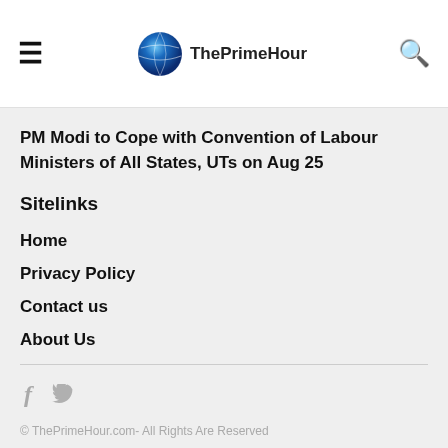ThePrimeHour
PM Modi to Cope with Convention of Labour Ministers of All States, UTs on Aug 25
Sitelinks
Home
Privacy Policy
Contact us
About Us
© ThePrimeHour.com- All Rights Are Reserved